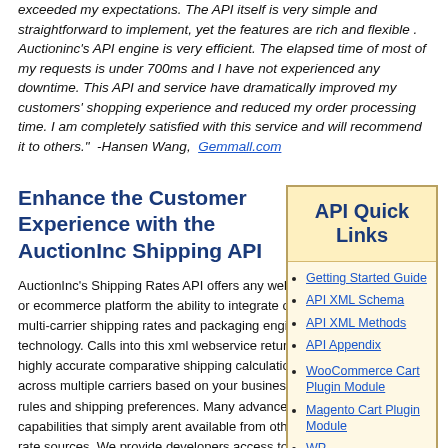exceeded my expectations. The API itself is very simple and straightforward to implement, yet the features are rich and flexible . Auctioninc's API engine is very efficient. The elapsed time of most of my requests is under 700ms and I have not experienced any downtime. This API and service have dramatically improved my customers' shopping experience and reduced my order processing time. I am completely satisfied with this service and will recommend it to others."  -Hansen Wang,  Gemmall.com
Enhance the Customer Experience with the AuctionInc Shipping API
AuctionInc's Shipping Rates API offers any website or ecommerce platform the ability to integrate our multi-carrier shipping rates and packaging engine technology. Calls into this xml webservice return highly accurate comparative shipping calculations across multiple carriers based on your business rules and shipping preferences. Many advanced capabilities that simply arent available from other rate sources. We provide developers access to a pre-built software module using a well-defined data structure and subroutine calls. Available in both a "single seller (SS) version and an "integrator" (XS) version for multiple-seller
API Quick Links
Getting Started Guide
API XML Schema
API XML Methods
API Appendix
WooCommerce Cart Plugin Module
Magento Cart Plugin Module
WP